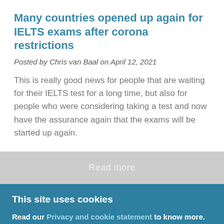Many countries opened up again for IELTS exams after corona restrictions
Posted by Chris van Baal on April 12, 2021
This is really good news for people that are waiting for their IELTS test for a long time, but also for people who were considering taking a test and now have the assurance again that the exams will be started up again.
Read more
This site uses cookies
Read our Privacy and cookie statement to know more. By clicking the Accept button, you agree to us doing so.
Accept
No, thanks